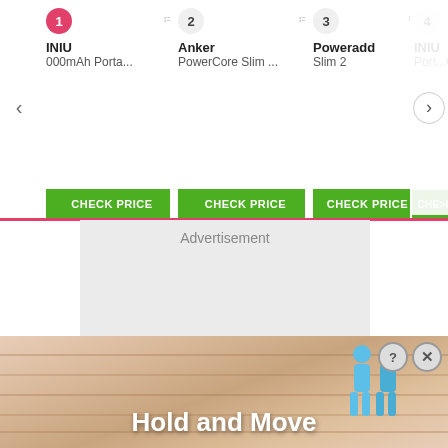[Figure (screenshot): Product comparison carousel showing ranked portable chargers with CHECK PRICE buttons. Item 1: INIU, 000mAh Porta...; Item 2: Anker, PowerCore Slim ...; Item 3: Poweradd, Slim 2; Item 4 (partial): INIU, Port...Cha...]
Advertisement
[Figure (screenshot): Bottom banner advertisement with wooden board background, two blue human figures, text 'Hold and Move', close/help icons in top right corner.]